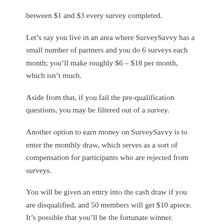between $1 and $3 every survey completed.
Let’s say you live in an area where SurveySavvy has a small number of partners and you do 6 surveys each month; you’ll make roughly $6 – $18 per month, which isn’t much.
Aside from that, if you fail the pre-qualification questions, you may be filtered out of a survey.
Another option to earn money on SurveySavvy is to enter the monthly draw, which serves as a sort of compensation for participants who are rejected from surveys.
You will be given an entry into the cash draw if you are disqualified, and 50 members will get $10 apiece. It’s possible that you’ll be the fortunate winner.